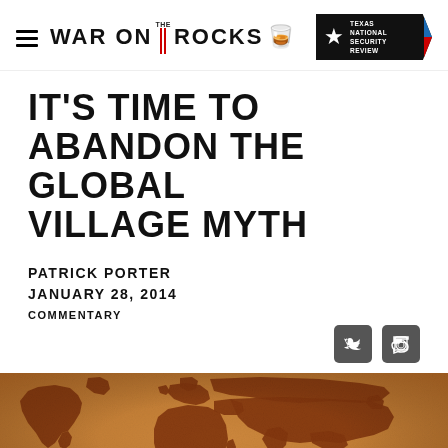WAR ON THE ROCKS | TEXAS NATIONAL SECURITY REVIEW
IT'S TIME TO ABANDON THE GLOBAL VILLAGE MYTH
PATRICK PORTER
JANUARY 28, 2014
COMMENTARY
[Figure (map): Vintage-style world map with dark brown continents on an aged parchment/orange-brown background.]